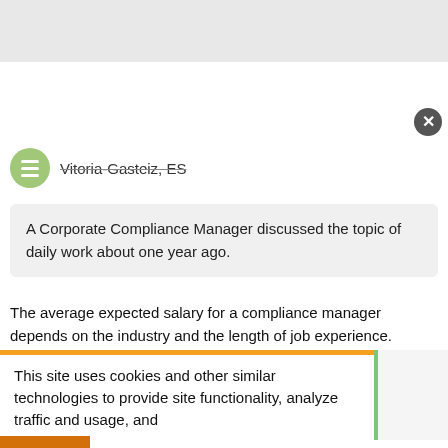[Figure (screenshot): Top gray navigation bar area of a website]
Vitoria-Gasteiz, ES
A Corporate Compliance Manager discussed the topic of daily work about one year ago.
The average expected salary for a compliance manager depends on the industry and the length of job experience.
02/21/2021
This site uses cookies and other similar technologies to provide site functionality, analyze traffic and usage, and
[Figure (photo): Ad banner showing gummy candy image with text: Doctor: If You Have Diabetes, You Must See, n/a]